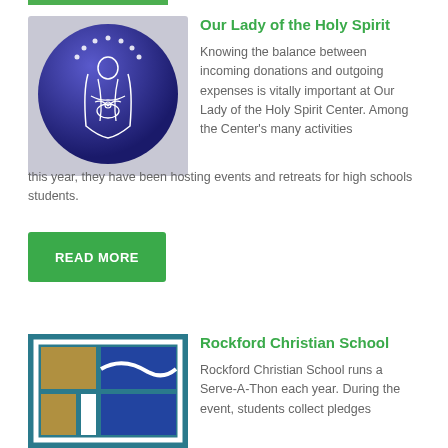[Figure (logo): Circular blue logo with an illustration of Our Lady (Virgin Mary) holding a dove, on a blue metallic sphere background]
Our Lady of the Holy Spirit
Knowing the balance between incoming donations and outgoing expenses is vitally important at Our Lady of the Holy Spirit Center. Among the Center’s many activities this year, they have been hosting events and retreats for high schools students.
READ MORE
[Figure (logo): Rockford Christian School logo: blue and tan/gold geometric squares and rectangle design]
Rockford Christian School
Rockford Christian School runs a Serve-A-Thon each year. During the event, students collect pledges